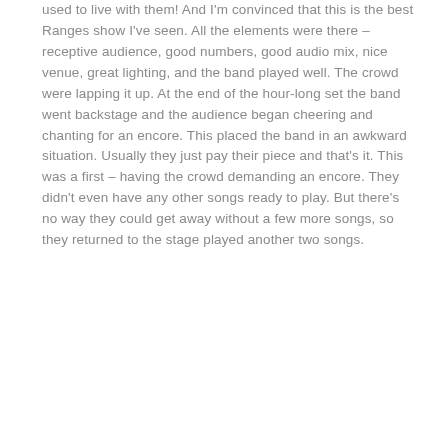used to live with them! And I'm convinced that this is the best Ranges show I've seen. All the elements were there – receptive audience, good numbers, good audio mix, nice venue, great lighting, and the band played well. The crowd were lapping it up. At the end of the hour-long set the band went backstage and the audience began cheering and chanting for an encore. This placed the band in an awkward situation. Usually they just pay their piece and that's it. This was a first – having the crowd demanding an encore. They didn't even have any other songs ready to play. But there's no way they could get away without a few more songs, so they returned to the stage played another two songs.